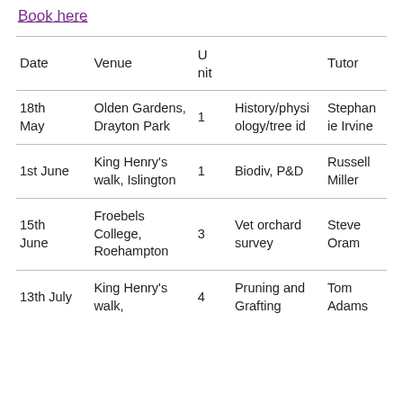Book here
| Date | Venue | Unit |  | Tutor |
| --- | --- | --- | --- | --- |
| 18th May | Olden Gardens, Drayton Park | 1 | History/physiology/tree id | Stephanie Irvine |
| 1st June | King Henry's walk, Islington | 1 | Biodiv, P&D | Russell Miller |
| 15th June | Froebels College, Roehampton | 3 | Vet orchard survey | Steve Oram |
| 13th July | King Henry's walk, | 4 | Pruning and Grafting | Tom Adams |